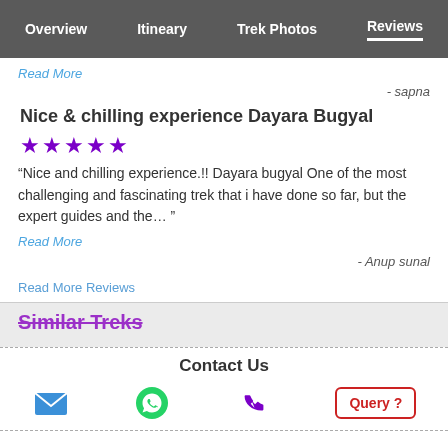Overview  Itineary  Trek Photos  Reviews
Read More
- sapna
Nice & chilling experience Dayara Bugyal
★★★★★
“Nice and chilling experience.!! Dayara bugyal One of the most challenging and fascinating trek that i have done so far, but the expert guides and the… ”
Read More
- Anup sunal
Read More Reviews
Similar Treks
Contact Us
[Figure (infographic): Contact Us bar with email icon, WhatsApp icon, phone icon, and Query? button]